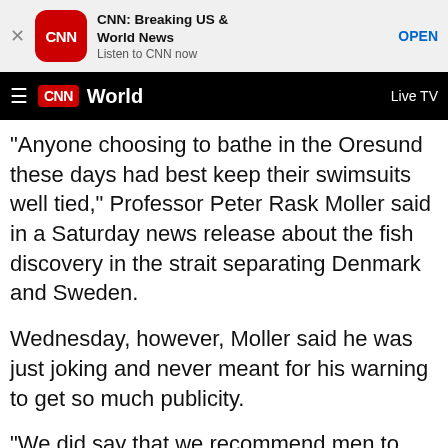[Figure (screenshot): CNN app advertisement banner with CNN logo, title 'CNN: Breaking US & World News', subtitle 'Listen to CNN now', and OPEN button]
CNN World  Live TV
"Anyone choosing to bathe in the Oresund these days had best keep their swimsuits well tied," Professor Peter Rask Moller said in a Saturday news release about the fish discovery in the strait separating Denmark and Sweden.
Wednesday, however, Moller said he was just joking and never meant for his warning to get so much publicity.
"We did say that we recommend men to keep their swimsuits tied up until we know if there are more